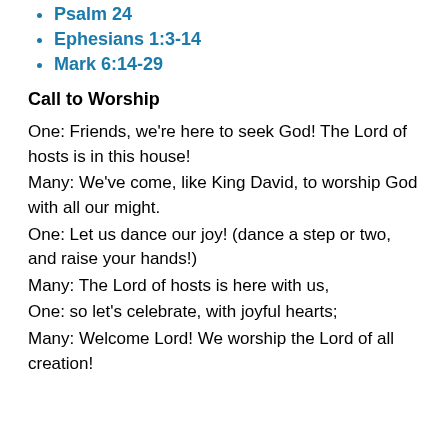Psalm 24
Ephesians 1:3-14
Mark 6:14-29
Call to Worship
One:  Friends, we're here to seek God!  The Lord of hosts is in this house!
Many:  We've come, like King David, to worship God with all our might.
One:  Let us dance our joy!  (dance a step or two, and raise your hands!)
Many:  The Lord of hosts is here with us,
One:  so let's celebrate, with joyful hearts;
Many:  Welcome Lord!  We worship the Lord of all creation!